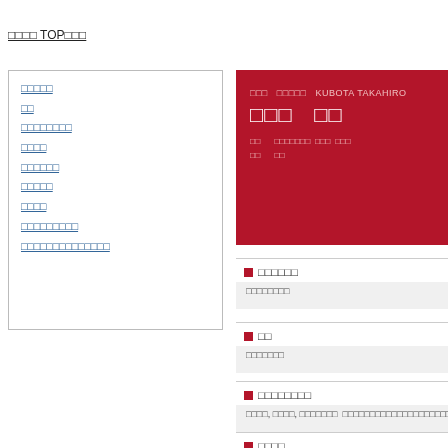□□□□ TOP□□□
□□□□□
□□
□□□□□□□□
□□□□
□□□□□□
□□□□□
□□□□
□□□□□□□□□
□□□□□□□□□□□□□□
[Figure (infographic): Red profile card with Japanese text and name KUBOTA TAKAHIRO, with subtitle Japanese characters and info rows]
□□□□□□
□□□□□□□□
□□
□□□□□□□
□□□□□□□□
□□□□, □□□□, □□□□□□□  □□□□□□□□□□□□□□□□□□□□□□□
□□□□